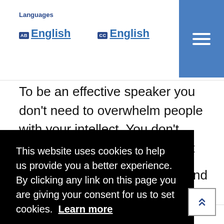Languages
AB English   CC English
To be an effective speaker you don't need to overwhelm people with your intellect. You don't need to dazzle them from start to finish. You simply need to give them the
This website uses cookies to help us provide you a better experience. By clicking any link on this page you are giving your consent for us to set cookies. Learn more
Got it!
Speaking  Presenting